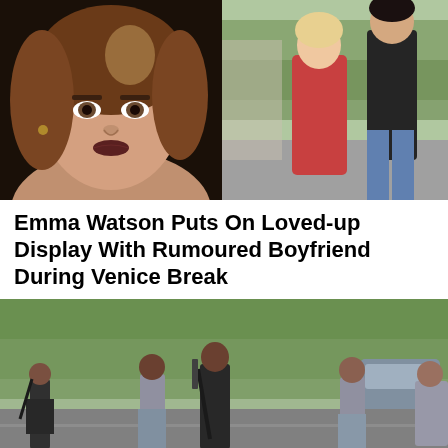[Figure (photo): Left: Close-up headshot of Emma Watson with styled hair and dark lipstick against a dark background. Right: Emma Watson in a red dress walking with a man in dark clothes outdoors.]
Emma Watson Puts On Loved-up Display With Rumoured Boyfriend During Venice Break
[Figure (photo): Armed security personnel and uniformed police officers standing on a road, with trees and a vehicle visible in the background.]